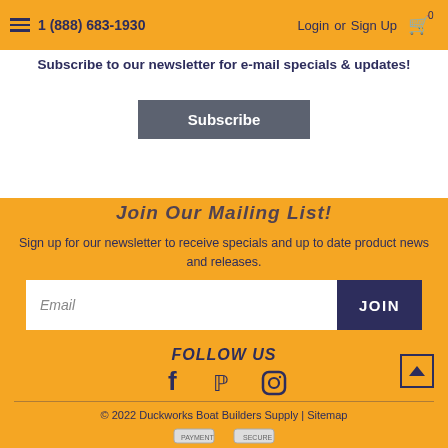1 (888) 683-1930  Login or Sign Up
Subscribe to our newsletter for e-mail specials & updates!
Subscribe
Join Our Mailing List!
Sign up for our newsletter to receive specials and up to date product news and releases.
Email  JOIN
FOLLOW US
[Figure (illustration): Social media icons: Facebook, Pinterest, Instagram]
© 2022 Duckworks Boat Builders Supply | Sitemap